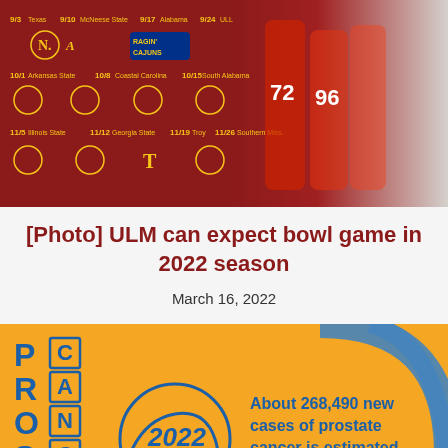[Figure (photo): ULM football 2022 schedule graphic on dark red background with team logos and dates on left, football players in maroon uniforms running on right]
[Photo] ULM can expect bowl game in 2022 season
March 16, 2022
[Figure (infographic): Prostate cancer 2022 infographic on orange/yellow background. Left side shows PROSTATE CANCER text arranged vertically with alternating bold blue letters and outlined blue letters. Center has a blue circle with 2022 inside. Right side reads: About 268,490 new cases of prostate cancer is estimated in 2022]